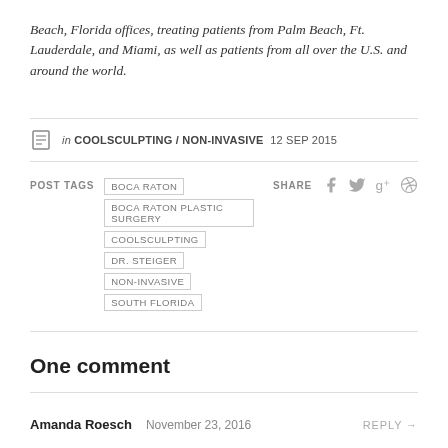Beach, Florida offices, treating patients from Palm Beach, Ft. Lauderdale, and Miami, as well as patients from all over the U.S. and around the world.
in COOLSCULPTING / NON-INVASIVE 12 SEP 2015
POST TAGS   BOCA RATON   BOCA RATON PLASTIC SURGERY   COOLSCULPTING   DR. STEIGER   NON-INVASIVE   SOUTH FLORIDA
SHARE
One comment
Amanda Roesch   November 23, 2016   REPLY →